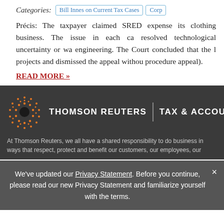Categories: Bill Innes on Current Tax Cases  Corp
Précis: The taxpayer claimed SRED expenses in its clothing business. The issue in each ca resolved technological uncertainty or wa engineering. The Court concluded that the l projects and dismissed the appeal withou procedure appeal).
READ MORE »
[Figure (logo): Thomson Reuters Tax & Accounting logo with orange dot-pattern globe icon]
At Thomson Reuters, we all have a shared responsibility to do business in ways that respect, protect and benefit our customers, our employees, our ...
We've updated our Privacy Statement. Before you continue, please read our new Privacy Statement and familiarize yourself with the terms.